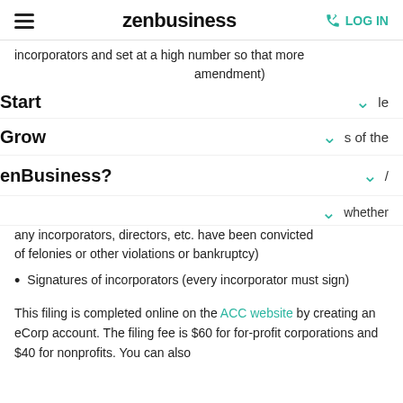zenbusiness | LOG IN
incorporators and set at a high number so that more (amendment)
Start | le
Grow | s of the
enBusiness? | /
whether any incorporators, directors, etc. have been convicted of felonies or other violations or bankruptcy)
Signatures of incorporators (every incorporator must sign)
This filing is completed online on the ACC website by creating an eCorp account. The filing fee is $60 for for-profit corporations and $40 for nonprofits. You can also